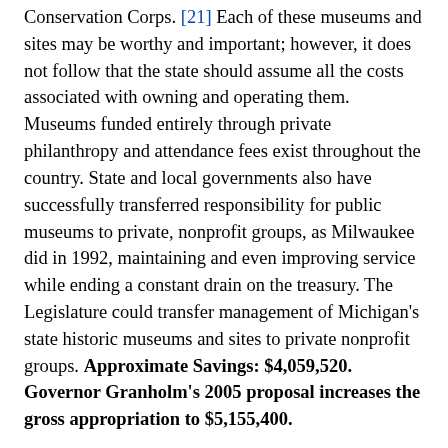Conservation Corps. [21] Each of these museums and sites may be worthy and important; however, it does not follow that the state should assume all the costs associated with owning and operating them. Museums funded entirely through private philanthropy and attendance fees exist throughout the country. State and local governments also have successfully transferred responsibility for public museums to private, nonprofit groups, as Milwaukee did in 1992, maintaining and even improving service while ending a constant drain on the treasury. The Legislature could transfer management of Michigan's state historic museums and sites to private nonprofit groups. Approximate Savings: $4,059,520. Governor Granholm's 2005 proposal increases the gross appropriation to $5,155,400.
Note: Approximately 20 percent of the expenditure for the "Historical administration and services" line item funds the work of state archivists; positions not